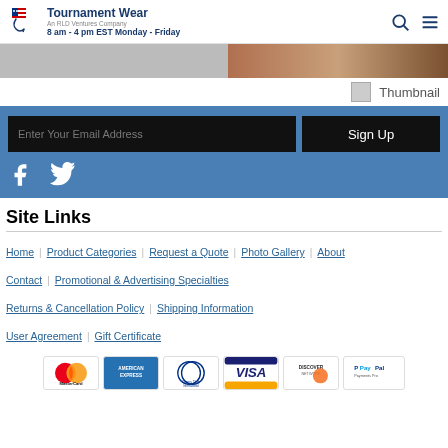Tournament Wear - An RLD Ventures Company - 8 am - 4 pm EST Monday - Friday
[Figure (photo): Partial photo strip showing people, cropped at top]
[Figure (photo): Small thumbnail image placeholder]
Enter Your Email Address
Sign Up
Site Links
Home
Product Categories
Request a Quote
Photo Gallery
About
Contact
Promotional & Advertising Specialties
Returns & Cancellation Policy
Shipping Information
User Agreement
Gift Certificate
[Figure (other): Payment method logos: MasterCard, American Express, Diners Club International, Visa, Discover Network, PayPal Payments Pro]